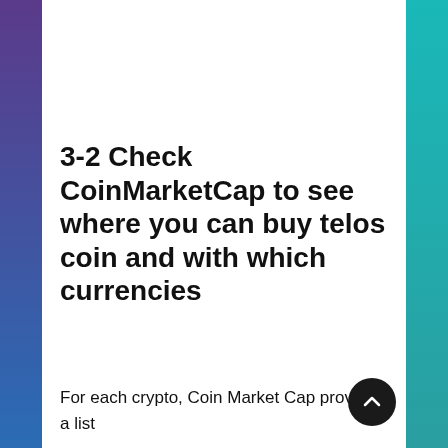3-2 Check CoinMarketCap to see where you can buy telos coin and with which currencies
For each crypto, Coin Market Cap provides a list